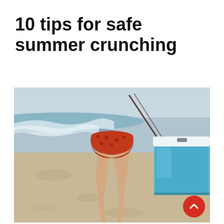10 tips for safe summer crunching
[Figure (photo): Woman from behind, barefoot on a sandy beach, wearing an orange/rust polka-dot skirt, carrying a blue ice cooler. Ocean waves visible in the background on the left.]